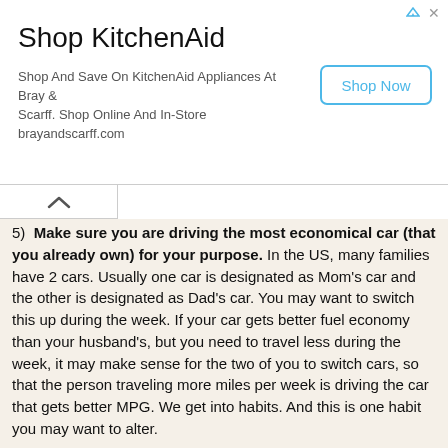[Figure (other): Advertisement banner for KitchenAid: 'Shop KitchenAid' title with text 'Shop And Save On KitchenAid Appliances At Bray & Scarff. Shop Online And In-Store brayandscarff.com' and a 'Shop Now' button]
5)  Make sure you are driving the most economical car (that you already own) for your purpose. In the US, many families have 2 cars. Usually one car is designated as Mom's car and the other is designated as Dad's car. You may want to switch this up during the week. If your car gets better fuel economy than your husband's, but you need to travel less during the week, it may make sense for the two of you to switch cars, so that the person traveling more miles per week is driving the car that gets better MPG. We get into habits. And this is one habit you may want to alter.
What are gas prices doing in your area? Did you notice a huge jump in price this last week? What are your plans for dealing with rising gas prices?
One thing I'll be doing this summer, is riding my bike more for